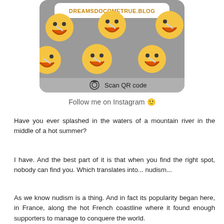[Figure (screenshot): Instagram QR code page screenshot showing DREAMSDOCOMETRUE.BLOG URL, laughing face emojis on grey background, and Scan QR code button]
Follow me on Instagram 🙂
Have you ever splashed in the waters of a mountain river in the middle of a hot summer?
I have. And the best part of it is that when you find the right spot, nobody can find you. Which translates into... nudism...
As we know nudism is a thing. And in fact its popularity began here, in France, along the hot French coastline where it found enough supporters to manage to conquere the world.